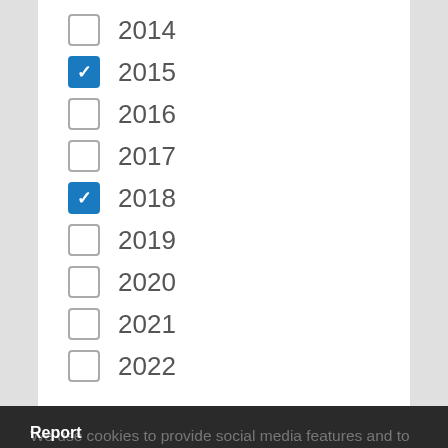2014 (unchecked)
2015 (checked)
2016 (unchecked)
2017 (unchecked)
2018 (checked)
2019 (unchecked)
2020 (unchecked)
2021 (unchecked)
2022 (unchecked)
Report
Digital change in health and social care
The use of digital technology in health and social care can improve quality, efficiency and patient experience as well as supporting more integrated care and improving the health of a population. This report shares practical learning from a